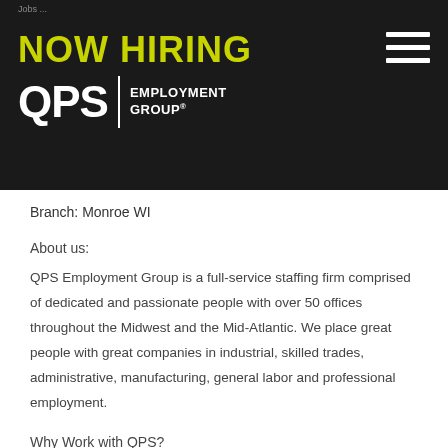NOW HIRING — QPS Employment Group
Branch: Monroe WI
About us:
QPS Employment Group is a full-service staffing firm comprised of dedicated and passionate people with over 50 offices throughout the Midwest and the Mid-Atlantic. We place great people with great companies in industrial, skilled trades, administrative, manufacturing, general labor and professional employment.
Why Work with QPS?
-Access to sought-after positions with leading employers
-Dedicated placement specialists who will guide you through every step of